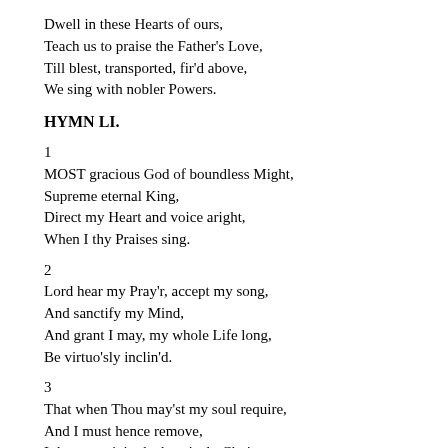Dwell in these Hearts of ours,
Teach us to praise the Father's Love,
Till blest, transported, fir'd above,
We sing with nobler Powers.
HYMN LI.
1
MOST gracious God of boundless Might,
Supreme eternal King,
Direct my Heart and voice aright,
When I thy Praises sing.
2
Lord hear my Pray'r, accept my song,
And sanctify my Mind,
And grant I may, my whole Life long,
Be virtuo'sly inclin'd.
3
That when Thou may'st my soul require,
And I must hence remove,
I then may join the heav'enly Choir,
And sing with saints above.